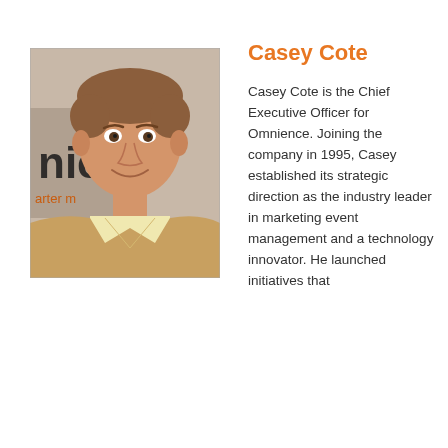[Figure (photo): Headshot photo of Casey Cote, a middle-aged man with short brown hair, smiling, wearing a tan blazer over a light yellow shirt. Background shows partial text 'nien' and 'arter m' in orange/dark lettering.]
Casey Cote
Casey Cote is the Chief Executive Officer for Omnience. Joining the company in 1995, Casey established its strategic direction as the industry leader in marketing event management and a technology innovator. He launched initiatives that